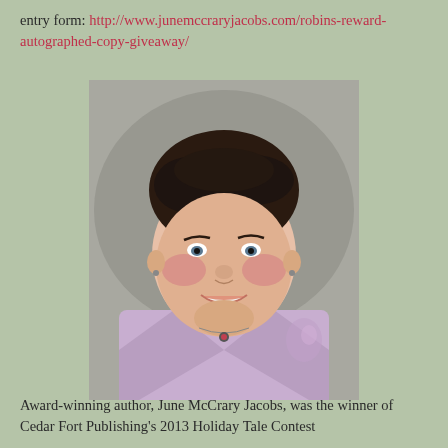entry form: http://www.junemccraryjacobs.com/robins-reward-autographed-copy-giveaway/
[Figure (photo): Portrait photo of a smiling middle-aged woman with short dark hair, rosy cheeks, wearing a lavender jacket with floral embroidery and a small pendant necklace, photographed against a grey studio background.]
Award-winning author, June McCrary Jacobs, was the winner of Cedar Fort Publishing's 2013 Holiday Tale Contest